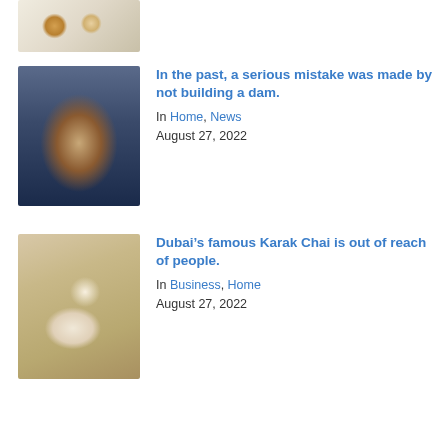[Figure (photo): Partial top thumbnail of food/drinks items from above]
[Figure (photo): Photo of a man (Imran Khan) seated, in dark clothing, resting hand on chin]
In the past, a serious mistake was made by not building a dam.
In Home, News
August 27, 2022
[Figure (photo): Photo of a cup of tea/chai with steam, warm tones]
Dubai’s famous Karak Chai is out of reach of people.
In Business, Home
August 27, 2022